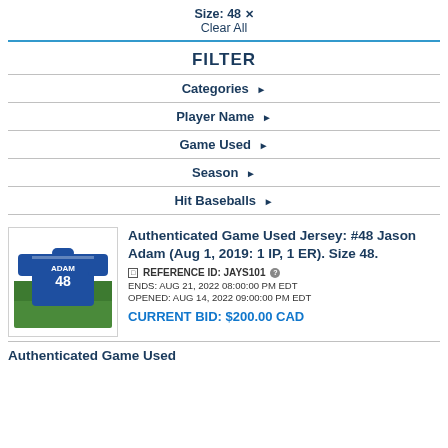Size: 48 ✕
Clear All
FILTER
Categories ▶
Player Name ▶
Game Used ▶
Season ▶
Hit Baseballs ▶
[Figure (photo): Blue Toronto Blue Jays jersey with number 48 and name ADAM on the back, laid flat on grass]
Authenticated Game Used Jersey: #48 Jason Adam (Aug 1, 2019: 1 IP, 1 ER). Size 48.
REFERENCE ID: JAYS101
ENDS: AUG 21, 2022 08:00:00 PM EDT
OPENED: AUG 14, 2022 09:00:00 PM EDT
CURRENT BID: $200.00 CAD
Authenticated Game Used